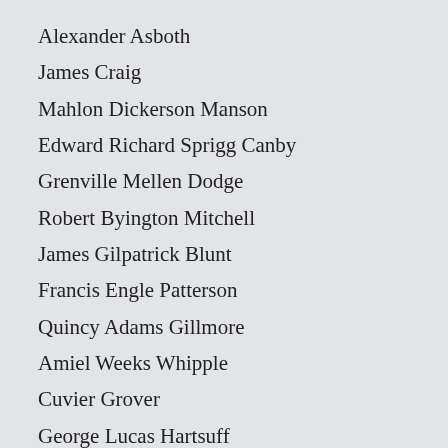Alexander Asboth
James Craig
Mahlon Dickerson Manson
Edward Richard Sprigg Canby
Grenville Mellen Dodge
Robert Byington Mitchell
James Gilpatrick Blunt
Francis Engle Patterson
Quincy Adams Gillmore
Amiel Weeks Whipple
Cuvier Grover
George Lucas Hartsuff
Rufus Saxton
Benjamin Alvord